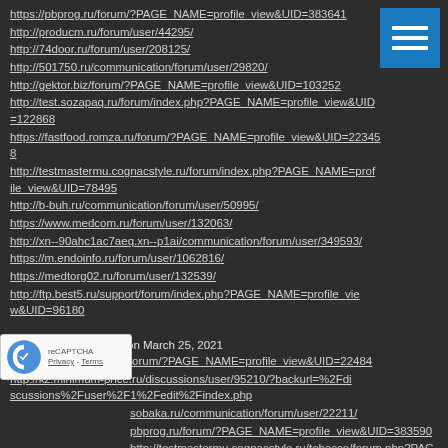https://pbprog.ru/forum/?PAGE_NAME=profile_view&UID=383641
http://producm.ru/forum/user/44295/
http://74door.ru/forum/user/208125/
http://501750.ru/communication/forum/user/29820/
http://gektor.biz/forum/?PAGE_NAME=profile_view&UID=103252
http://test.sozapaq.ru/forum/index.php?PAGE_NAME=profile_view&UID=122868
https://fastfood.romza.ru/forum/?PAGE_NAME=profile_view&UID=223458
http://testmastermu.cognacstyle.ru/forum/index.php?PAGE_NAME=profile_view&UID=78495
http://b-buh.ru/communication/forum/user/50995/
https://www.medcom.ru/forum/user/132063/
http://xn--90ahc1ac7aeq.xn--p1ai/communication/forum/user/349593/
https://m.endoinfo.ru/forum/user/1062816/
https://medtorg02.ru/forum/user/132539/
http://ftp.best5.ru/support/forum/index.php?PAGE_NAME=profile_view&UID=96180
Geraldplern10:35 PM on March 25, 2021
http://ivanovo-diving.ru/forum/?PAGE_NAME=profile_view&UID=22484
http://kz.minimum-price.ru/discussions/user/95210/?backurl=%2Fdiscussions%2Fuser%2F1%2Fedit%2Findex.php
http://sobaka.ru/communication/forum/user/22211/
http://pbprog.ru/forum/?PAGE_NAME=profile_view&UID=383590
http://testmastermu.cognacstyle.ru/tobacco/forum.php?PAGE_NAME=pr